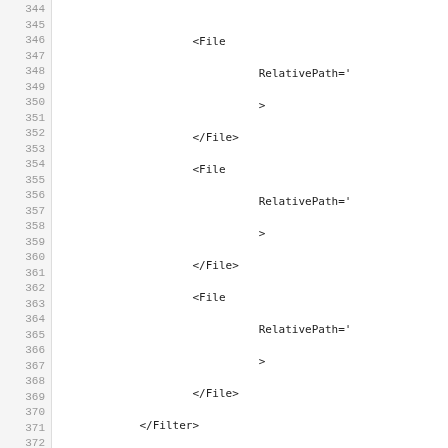Code listing lines 344-374 showing XML filter configuration with File and Filter elements including RelativePath, Name, Filter, and UniqueIdentifier attributes